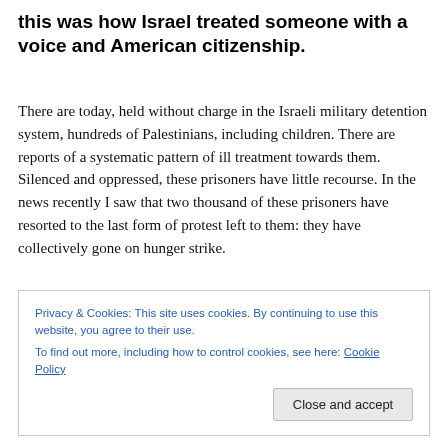this was how Israel treated someone with a voice and American citizenship.
There are today, held without charge in the Israeli military detention system, hundreds of Palestinians, including children. There are reports of a systematic pattern of ill treatment towards them. Silenced and oppressed, these prisoners have little recourse. In the news recently I saw that two thousand of these prisoners have resorted to the last form of protest left to them: they have collectively gone on hunger strike.
Privacy & Cookies: This site uses cookies. By continuing to use this website, you agree to their use.
To find out more, including how to control cookies, see here: Cookie Policy